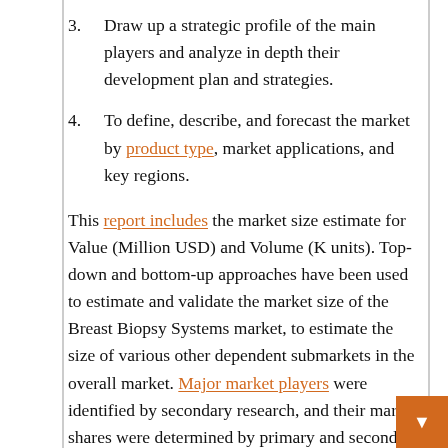3. Draw up a strategic profile of the main players and analyze in depth their development plan and strategies.
4. To define, describe, and forecast the market by product type, market applications, and key regions.
This report includes the market size estimate for Value (Million USD) and Volume (K units). Top-down and bottom-up approaches have been used to estimate and validate the market size of the Breast Biopsy Systems market, to estimate the size of various other dependent submarkets in the overall market. Major market players were identified by secondary research, and their market shares were determined by primary and secondary research. All percentages, divisions and distributions were determined using secondary sources and verified primary